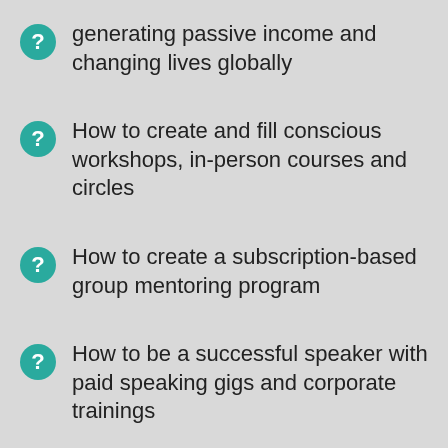generating passive income and changing lives globally
How to create and fill conscious workshops, in-person courses and circles
How to create a subscription-based group mentoring program
How to be a successful speaker with paid speaking gigs and corporate trainings